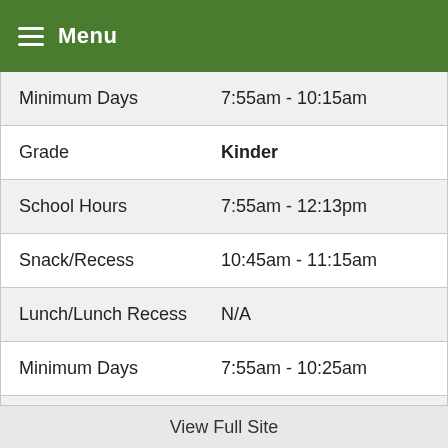Menu
|  |  |
| --- | --- |
| Minimum Days | 7:55am - 10:15am |
| Grade | Kinder |
| School Hours | 7:55am - 12:13pm |
| Snack/Recess | 10:45am - 11:15am |
| Lunch/Lunch Recess | N/A |
| Minimum Days | 7:55am - 10:25am |
| Grade | Grade 1 |
View Full Site